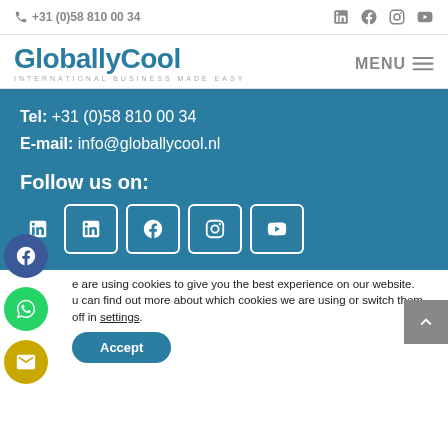+31 (0)58 810 00 34
GloballyCool — INTERNATIONAL BUSINESS MADE EASY
Tel: +31 (0)58 810 00 34
E-mail: info@globallycool.nl
Follow us on:
We are using cookies to give you the best experience on our website.
You can find out more about which cookies we are using or switch them off in settings.
Accept